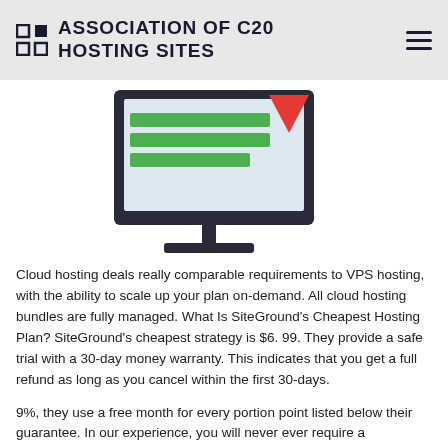ASSOCIATION OF C20 HOSTING SITES
[Figure (illustration): Illustration of a computer monitor displaying a webpage with green horizontal bars and a red triangular notification badge, with a monitor stand below.]
Cloud hosting deals really comparable requirements to VPS hosting, with the ability to scale up your plan on-demand. All cloud hosting bundles are fully managed. What Is SiteGround's Cheapest Hosting Plan? SiteGround's cheapest strategy is $6. 99. They provide a safe trial with a 30-day money warranty. This indicates that you get a full refund as long as you cancel within the first 30-days.
9%, they use a free month for every portion point listed below their guarantee. In our experience, you will never ever require a